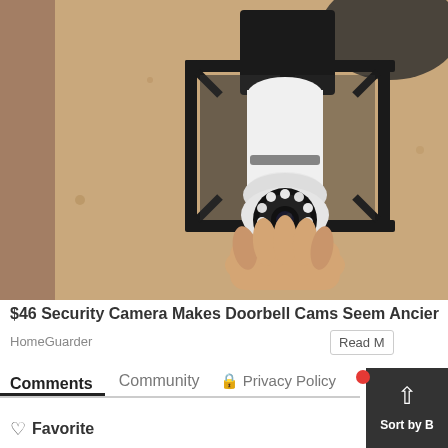[Figure (photo): A hand screwing a security camera shaped like a light bulb into a black outdoor lantern fixture mounted on a textured beige/tan stucco wall. The camera has a round lens with LED ring lights visible.]
$46 Security Camera Makes Doorbell Cams Seem Ancient
HomeGuarder
Read More
Comments  Community  🔒 Privacy Policy  Log
♡ Favorite
Sort by B